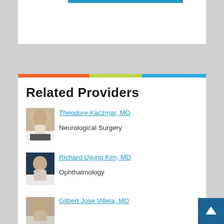Related Providers
[Figure (photo): Photo of Dr. Theodore Kaczmar, MD, male physician in white coat]
Theodore Kaczmar, MD
Neurological Surgery
[Figure (photo): Photo of Dr. Richard Uijung Kim, MD, male physician]
Richard Uijung Kim, MD
Ophthalmology
[Figure (photo): Photo of Dr. Gilbert Jose Villela, MD, male physician]
Gilbert Jose Villela, MD